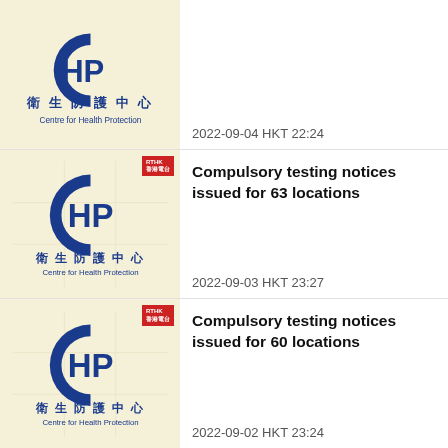[Figure (logo): Centre for Health Protection (CHP) logo with Chinese text 衛生防護中心]
2022-09-04 HKT 22:24
[Figure (logo): Centre for Health Protection (CHP) logo with Chinese text 衛生防護中心 and RTHK badge]
Compulsory testing notices issued for 63 locations
2022-09-03 HKT 23:27
[Figure (logo): Centre for Health Protection (CHP) logo with Chinese text 衛生防護中心 and RTHK badge]
Compulsory testing notices issued for 60 locations
2022-09-02 HKT 23:24